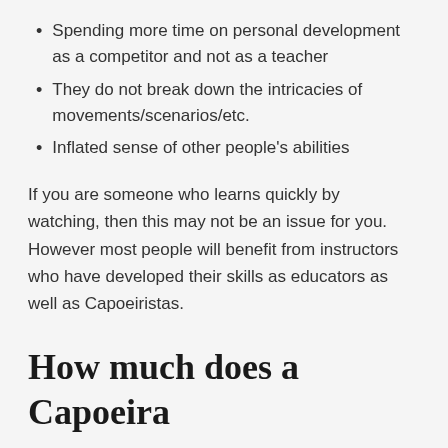Spending more time on personal development as a competitor and not as a teacher
They do not break down the intricacies of movements/scenarios/etc.
Inflated sense of other people's abilities
If you are someone who learns quickly by watching, then this may not be an issue for you. However most people will benefit from instructors who have developed their skills as educators as well as Capoeiristas.
How much does a Capoeira uniform cost?